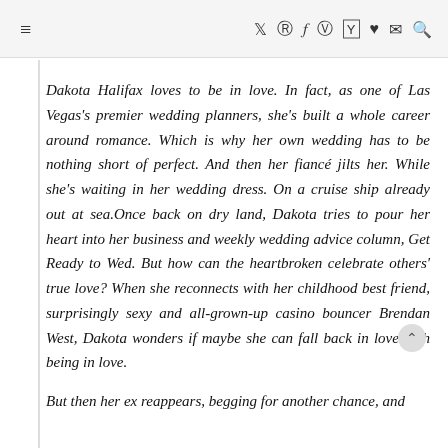≡  ✦ ⊕ f ◎ yt ♥ ✉ 🔍
Dakota Halifax loves to be in love. In fact, as one of Las Vegas's premier wedding planners, she's built a whole career around romance. Which is why her own wedding has to be nothing short of perfect. And then her fiancé jilts her. While she's waiting in her wedding dress. On a cruise ship already out at sea.Once back on dry land, Dakota tries to pour her heart into her business and weekly wedding advice column, Get Ready to Wed. But how can the heartbroken celebrate others' true love? When she reconnects with her childhood best friend, surprisingly sexy and all-grown-up casino bouncer Brendan West, Dakota wonders if maybe she can fall back in love with being in love.
But then her ex reappears, begging for another chance, and